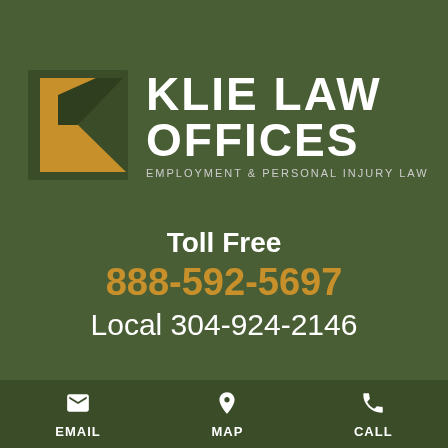[Figure (logo): Klie Law Offices logo with stylized K monogram in gold/dark green and firm name in white text, with tagline Employment & Personal Injury Law]
Toll Free
888-592-5697
Local 304-924-2146
EMAIL  MAP  CALL